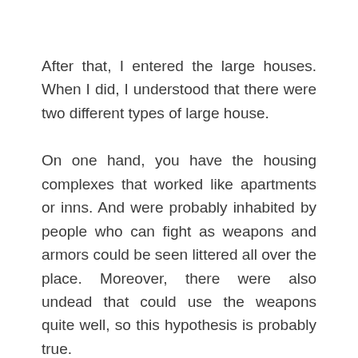After that, I entered the large houses. When I did, I understood that there were two different types of large house.
On one hand, you have the housing complexes that worked like apartments or inns. And were probably inhabited by people who can fight as weapons and armors could be seen littered all over the place. Moreover, there were also undead that could use the weapons quite well, so this hypothesis is probably true.